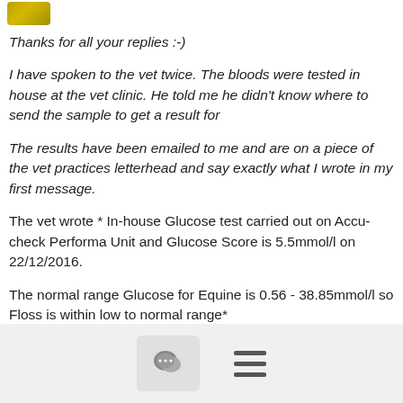[Figure (logo): Small gold/yellow colored logo or avatar image in top left corner]
Thanks for all your replies :-)
I have spoken to the vet twice. The bloods were tested in house at the vet clinic. He told me he didn't know where to send the sample to get a result for
The results have been emailed to me and are on a piece of the vet practices letterhead and say exactly what I wrote in my first message.
The vet wrote * In-house Glucose test carried out on Accu-check Performa Unit and Glucose Score is 5.5mmol/l on 22/12/2016.
The normal range Glucose for Equine is 0.56 - 38.85mmol/l so Floss is within low to normal range*
It sounds to me like I need to copy off the recommendations of Paulines to get all the results I need.
I'm beginning to feel more and more that the vets in my part of the world are clueless :-(
[Figure (other): Footer bar with chat bubble icon button and hamburger menu icon]